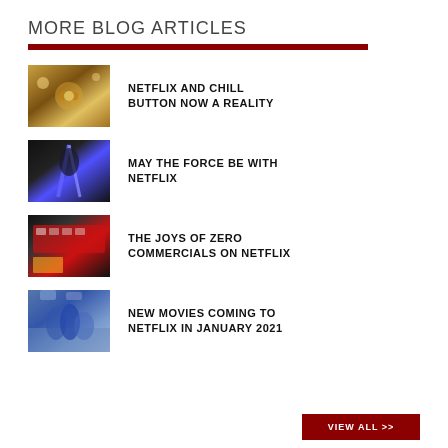MORE BLOG ARTICLES
NETFLIX AND CHILL BUTTON NOW A REALITY
MAY THE FORCE BE WITH NETFLIX
THE JOYS OF ZERO COMMERCIALS ON NETFLIX
NEW MOVIES COMING TO NETFLIX IN JANUARY 2021
VIEW ALL >>